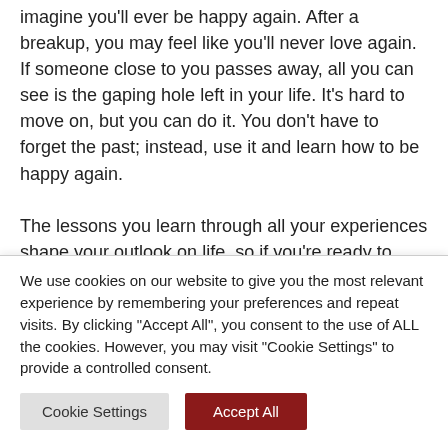imagine you'll ever be happy again. After a breakup, you may feel like you'll never love again. If someone close to you passes away, all you can see is the gaping hole left in your life. It's hard to move on, but you can do it. You don't have to forget the past; instead, use it and learn how to be happy again.

The lessons you learn through all your experiences shape your outlook on life, so if you're ready to learn how to be
We use cookies on our website to give you the most relevant experience by remembering your preferences and repeat visits. By clicking "Accept All", you consent to the use of ALL the cookies. However, you may visit "Cookie Settings" to provide a controlled consent.